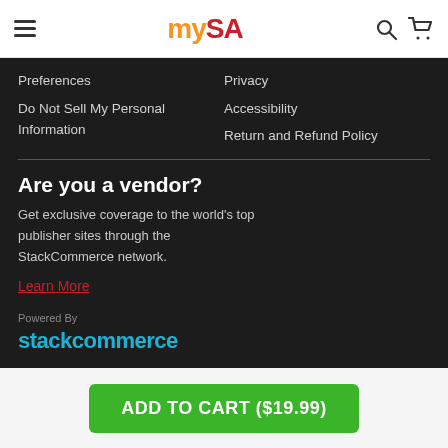mySA
Preferences
Privacy
Do Not Sell My Personal Information
Accessibility
Return and Refund Policy
Are you a vendor?
Get exclusive coverage to the world's top publisher sites through the StackCommerce network.
Learn More
Powered By
stackcommerce
ADD TO CART ($19.99)